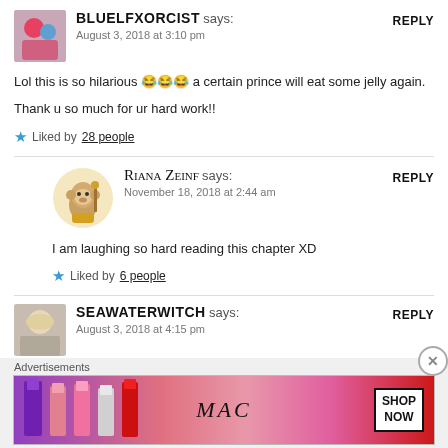BLUELFXORCIST says:
August 3, 2018 at 3:10 pm
Lol this is so hilarious 😂😂😂 a certain prince will eat some jelly again.
Thank u so much for ur hard work!!
Liked by 28 people
RIANA ZEINF says:
November 18, 2018 at 2:44 am
I am laughing so hard reading this chapter XD
Liked by 6 people
SEAWATERWITCH says:
August 3, 2018 at 4:15 pm
Advertisements